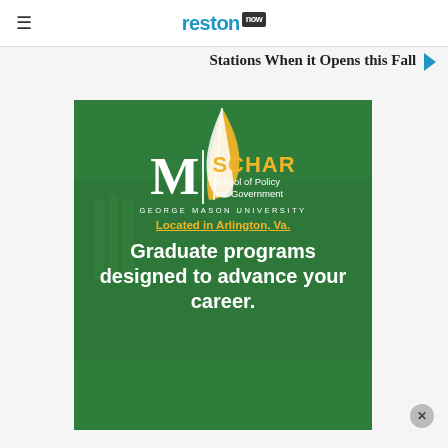reston now
Stations When it Opens this Fall
[Figure (logo): George Mason University Schar School of Policy and Government advertisement. Green background with gold feather logo, white M letter, vertical divider, gold SCHAR text, white 'School of Policy and Government' text, white 'GEORGE MASON UNIVERSITY' text, gold underlined 'Located in Arlington, Va.', white text 'Graduate programs designed to advance your career.']